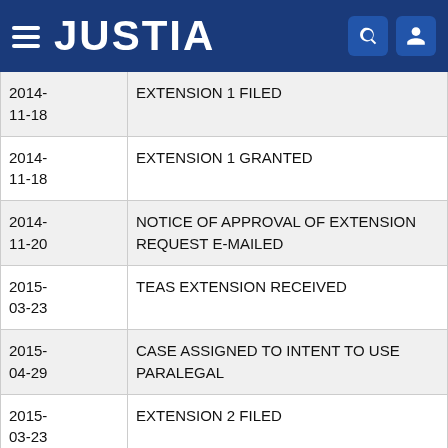JUSTIA
| Date | Event |
| --- | --- |
| 2014-11-18 | EXTENSION 1 FILED |
| 2014-11-18 | EXTENSION 1 GRANTED |
| 2014-11-20 | NOTICE OF APPROVAL OF EXTENSION REQUEST E-MAILED |
| 2015-03-23 | TEAS EXTENSION RECEIVED |
| 2015-04-29 | CASE ASSIGNED TO INTENT TO USE PARALEGAL |
| 2015-03-23 | EXTENSION 2 FILED |
| 2015-04-29 | EXTENSION 2 GRANTED |